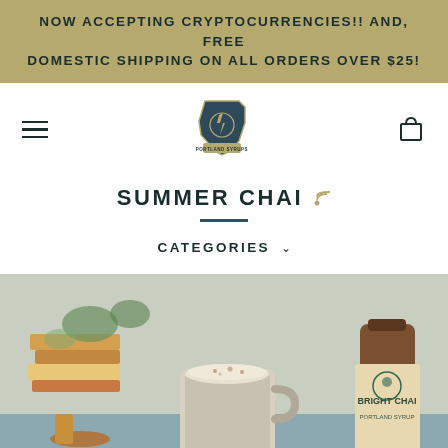NOW ACCEPTING CRYPTOCURRENCIES!! AND, FREE DOMESTIC SHIPPING ON ALL ORDERS OVER $25!
[Figure (logo): Portland Syrups logo — Oregon state outline with decorative emblem]
SUMMER CHAI
CATEGORIES
[Figure (photo): Photo of a ceramic mug with chai latte and foam, a bottle of Bright Chai Portland Syrup, stacked books, and greenery in the background]